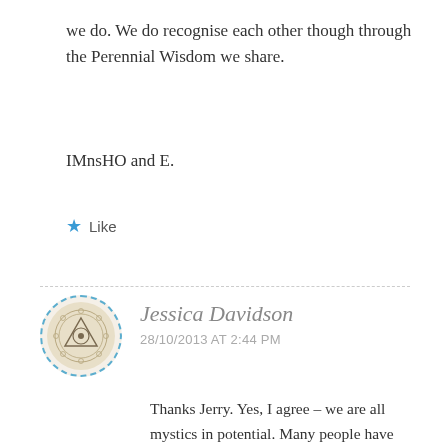we do. We do recognise each other though through the Perennial Wisdom we share.
IMnsHO and E.
★ Like
Jessica Davidson
28/10/2013 AT 2:44 PM
Thanks Jerry. Yes, I agree – we are all mystics in potential. Many people have peak experiences without realising what they are – they just feel good and kind of expansive. A true mystic takes those glimpses and works on them, deepening their